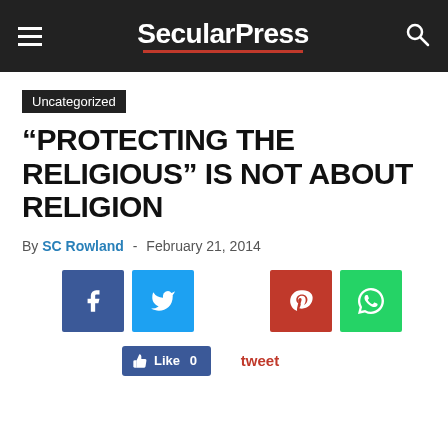SecularPress
Uncategorized
“PROTECTING THE RELIGIOUS” IS NOT ABOUT RELIGION
By SC Rowland - February 21, 2014
[Figure (other): Social sharing buttons: Facebook, Twitter, Pinterest, WhatsApp, Facebook Like (0), tweet link]